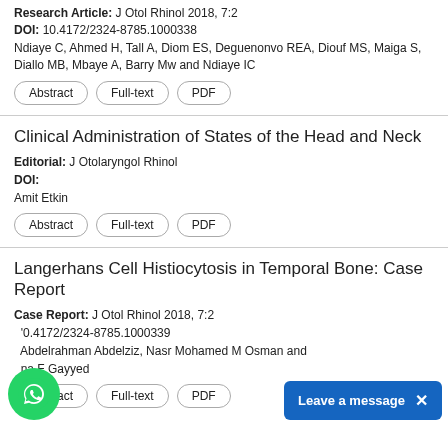Research Article: J Otol Rhinol 2018, 7:2
DOI: 10.4172/2324-8785.1000338
Ndiaye C, Ahmed H, Tall A, Diom ES, Deguenonvo REA, Diouf MS, Maiga S, Diallo MB, Mbaye A, Barry Mw and Ndiaye IC
Abstract
Full-text
PDF
Clinical Administration of States of the Head and Neck
Editorial: J Otolaryngol Rhinol
DOI:
Amit Etkin
Abstract
Full-text
PDF
Langerhans Cell Histiocytosis in Temporal Bone: Case Report
Case Report: J Otol Rhinol 2018, 7:2
DOI: 10.4172/2324-8785.1000339
Abdelrahman Abdelziz, Nasr Mohamed M Osman and Ina F Gayyed
Abstract
Full-text
PDF